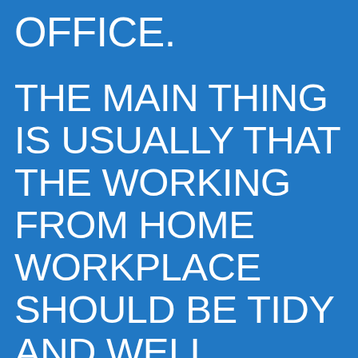OFFICE. THE MAIN THING IS USUALLY THAT THE WORKING FROM HOME WORKPLACE SHOULD BE TIDY AND WELL ORGANIZED. YOU MAY FIND NUMEROUS SOLUTIONS SIMPLY BY